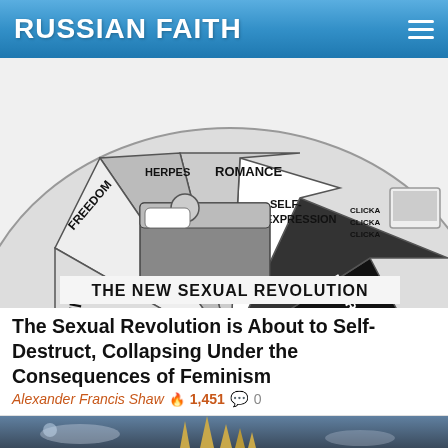RUSSIAN FAITH
[Figure (illustration): Black and white cartoon illustration titled 'THE NEW SEXUAL REVOLUTION' showing a spinning wheel/roulette with segments labeled: FREEDOM, HERPES, ROMANCE, SELF-EXPRESSION, AIDS (with skull and crossbones), LIBERATION, PLEASURE, PREGNANCY, FUN. A person is shown in bed. The wheel appears to be a game board representing risks of the sexual revolution.]
The Sexual Revolution is About to Self-Destruct, Collapsing Under the Consequences of Feminism
Alexander Francis Shaw 🔥 1,451 💬 0
[Figure (illustration): Fantasy/science fiction digital illustration showing tall futuristic spire buildings against a dramatic cloudy sky with moons, in dark blue and golden tones.]